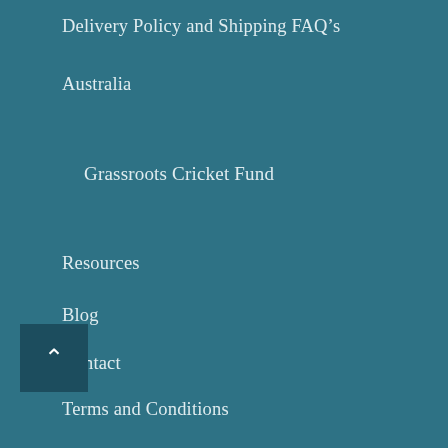Delivery Policy and Shipping FAQ’s
Australia
Grassroots Cricket Fund
Resources
Blog
Contact
Terms and Conditions
Privacy Policy
Returns and Refund Policy